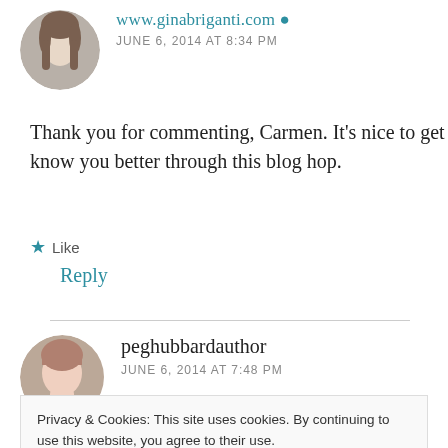www.ginabriganti.com — JUNE 6, 2014 AT 8:34 PM
Thank you for commenting, Carmen. It's nice to get to know you better through this blog hop.
Like
Reply
peghubbardauthor
JUNE 6, 2014 AT 7:48 PM
Privacy & Cookies: This site uses cookies. By continuing to use this website, you agree to their use.
To find out more, including how to control cookies, see here: Cookie Policy
Close and accept
work you do, and when my own business is a little